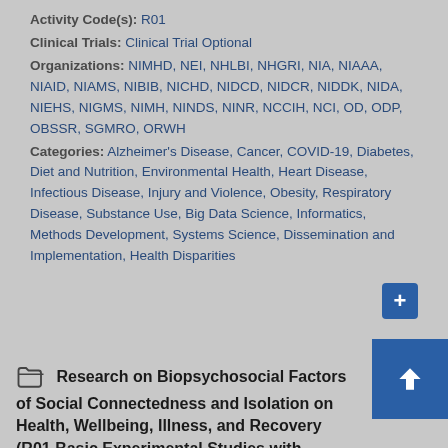Activity Code(s): R01
Clinical Trials: Clinical Trial Optional
Organizations: NIMHD, NEI, NHLBI, NHGRI, NIA, NIAAA, NIAID, NIAMS, NIBIB, NICHD, NIDCD, NIDCR, NIDDK, NIDA, NIEHS, NIGMS, NIMH, NINDS, NINR, NCCIH, NCI, OD, ODP, OBSSR, SGMRO, ORWH
Categories: Alzheimer's Disease, Cancer, COVID-19, Diabetes, Diet and Nutrition, Environmental Health, Heart Disease, Infectious Disease, Injury and Violence, Obesity, Respiratory Disease, Substance Use, Big Data Science, Informatics, Methods Development, Systems Science, Dissemination and Implementation, Health Disparities
Research on Biopsychosocial Factors of Social Connectedness and Isolation on Health, Wellbeing, Illness, and Recovery (R01 Basic Experimental Studies with Humans Required)